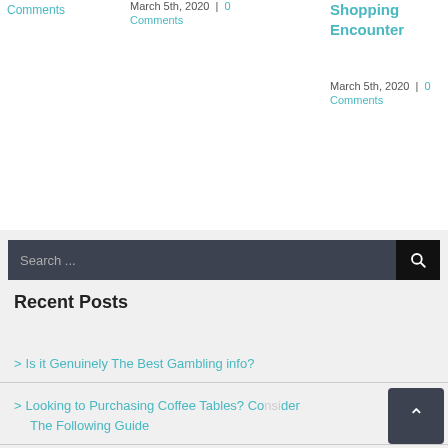Comments
March 5th, 2020 | 0 Comments
Shopping Encounter
March 5th, 2020 | 0 Comments
[Figure (other): Search bar with dark background and search icon button]
Recent Posts
Is it Genuinely The Best Gambling info?
Looking to Purchasing Coffee Tables? Consider The Following Guide